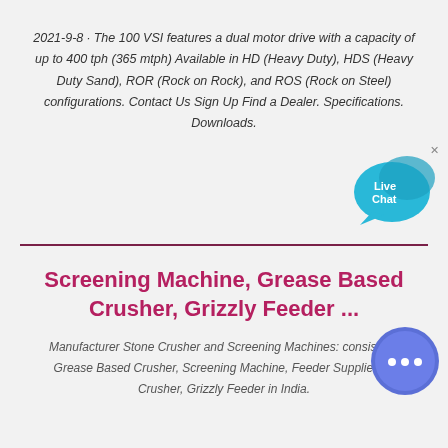2021-9-8 · The 100 VSI features a dual motor drive with a capacity of up to 400 tph (365 mtph) Available in HD (Heavy Duty), HDS (Heavy Duty Sand), ROR (Rock on Rock), and ROS (Rock on Steel) configurations. Contact Us Sign Up Find a Dealer. Specifications. Downloads.
[Figure (illustration): Live Chat speech bubble icon in cyan/blue color with 'Live Chat' text and a close X button]
Screening Machine, Grease Based Crusher, Grizzly Feeder ...
Manufacturer Stone Crusher and Screening Machines: consists of Grease Based Crusher, Screening Machine, Feeder Supplier for Crusher, Grizzly Feeder in India.
[Figure (illustration): Round blue chat bubble button with ellipsis dots icon]